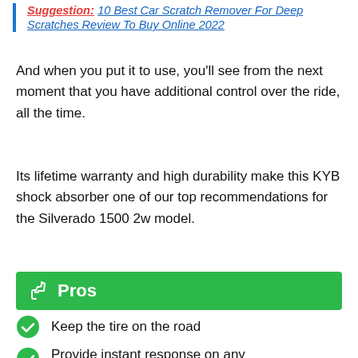Suggestion: 10 Best Car Scratch Remover For Deep Scratches Review To Buy Online 2022
And when you put it to use, you'll see from the next moment that you have additional control over the ride, all the time.
Its lifetime warranty and high durability make this KYB shock absorber one of our top recommendations for the Silverado 1500 2w model.
Pros
Keep the tire on the road
Provide instant response on any condition
Offers full control and great durability